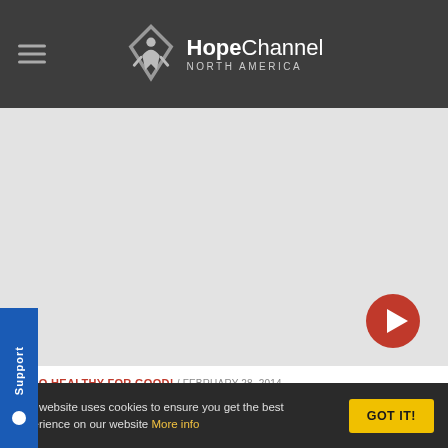HopeChannel NORTH AMERICA
[Figure (screenshot): Video thumbnail placeholder — grey rectangle with play button, part of a HopeChannel article page]
GO HEALTHY FOR GOOD! / FEBRUARY 28, 2014
Osteoarthritis & Prehabilitation
The commonest cause of physical disability in adults worldwide,
This website uses cookies to ensure you get the best experience on our website More info